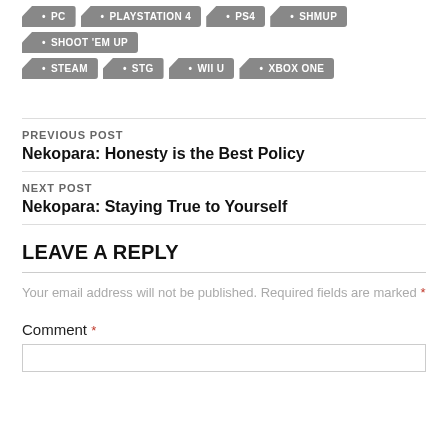PC • PLAYSTATION 4 • PS4 • SHMUP • SHOOT 'EM UP • STEAM • STG • WII U • XBOX ONE
PREVIOUS POST
Nekopara: Honesty is the Best Policy
NEXT POST
Nekopara: Staying True to Yourself
LEAVE A REPLY
Your email address will not be published. Required fields are marked *
Comment *